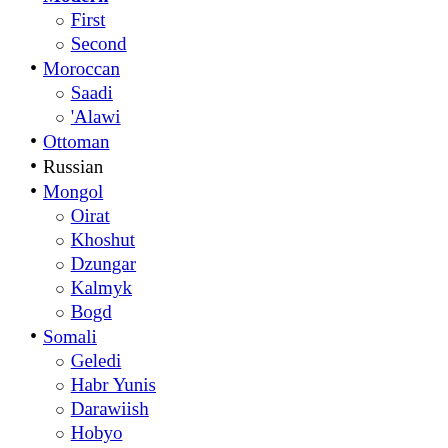Modern
First
Second
Moroccan
Saadi
'Alawi
Ottoman
Russian
Mongol
Oirat
Khoshut
Dzungar
Kalmyk
Bogd
Somali
Geledi
Habr Yunis
Darawiish
Hobyo
Isaaq
Majeerteen
Swedish
Tongan
Vietnamese
Dainam
Vietnam